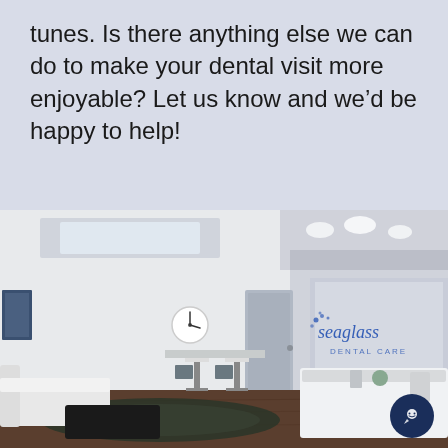tunes. Is there anything else we can do to make your dental visit more enjoyable? Let us know and we’d be happy to help!
[Figure (photo): Interior photo of Seaglass Dental Care office showing a modern white reception area with front desk, waiting room with white sofas, bar stools at a counter, a wall clock, and the Seaglass Dental Care logo on the wall.]